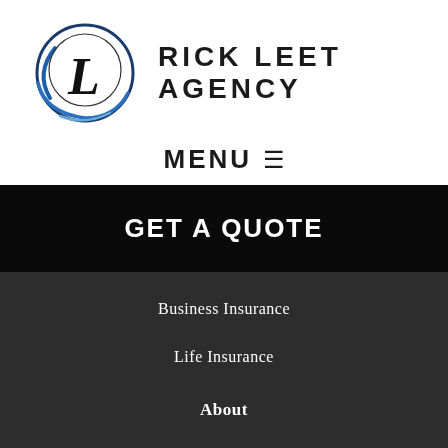[Figure (logo): Rick Leet Agency logo: circular swoosh design in blue and black with italic L, alongside text RICK LEET AGENCY in bold uppercase]
MENU ☰
GET A QUOTE
Business Insurance
Life Insurance
About